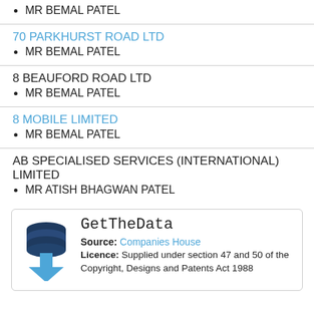MR BEMAL PATEL
70 PARKHURST ROAD LTD
MR BEMAL PATEL
8 BEAUFORD ROAD LTD
MR BEMAL PATEL
8 MOBILE LIMITED
MR BEMAL PATEL
AB SPECIALISED SERVICES (INTERNATIONAL) LIMITED
MR ATISH BHAGWAN PATEL
[Figure (logo): GetTheData logo with stacked database icon and blue arrow pointing down]
Source: Companies House
Licence: Supplied under section 47 and 50 of the Copyright, Designs and Patents Act 1988